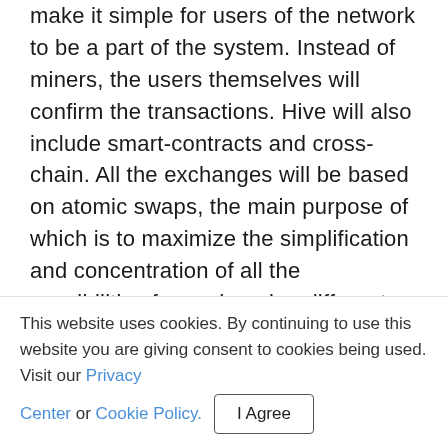make it simple for users of the network to be a part of the system. Instead of miners, the users themselves will confirm the transactions. Hive will also include smart-contracts and cross-chain. All the exchanges will be based on atomic swaps, the main purpose of which is to maximize the simplification and concentration of all the possibilities for exchanging different cryptocurrencies within a single platform. So, each businessman who will use PMNC will be able to exchange it to any other cryptocurrency inside Paymon. Revolutionary features of the Hive have given Paymon a unique
This website uses cookies. By continuing to use this website you are giving consent to cookies being used. Visit our Privacy Center or Cookie Policy. [I Agree]